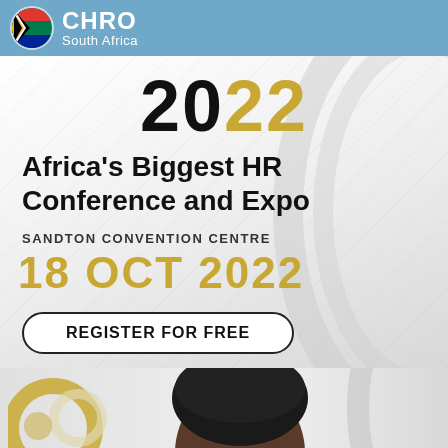CHRO South Africa
2022
Africa's Biggest HR Conference and Expo
SANDTON CONVENTION CENTRE
18 OCT 2022
REGISTER FOR FREE
[Figure (photo): Partial photo of a person's head at the bottom of the banner]
Home | Membership | CPD TV | Magazine | Photos | Events | Whitepapers | Pa...